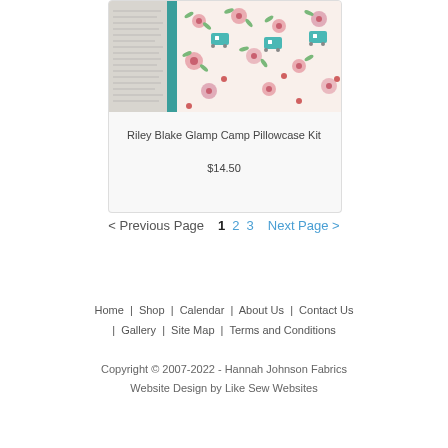[Figure (photo): Product image showing Riley Blake Glamp Camp fabric with floral and camper trailer pattern, with a decorative border fabric on the left side]
Riley Blake Glamp Camp Pillowcase Kit
$14.50
< Previous Page   1   2   3   Next Page >
Home | Shop | Calendar | About Us | Contact Us | Gallery | Site Map | Terms and Conditions
Copyright © 2007-2022 - Hannah Johnson Fabrics Website Design by Like Sew Websites